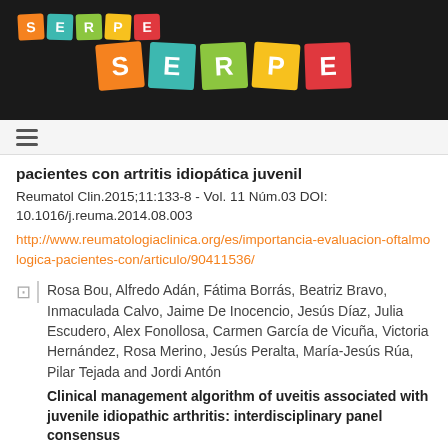[Figure (logo): SERPE logo — small colorful letter tiles spelling S E R P E in top-left of dark header bar]
[Figure (logo): SERPE logo — large colorful letter tiles spelling S E R P E centered in dark header bar]
pacientes con artritis idiopática juvenil
Reumatol Clin.2015;11:133-8 - Vol. 11 Núm.03 DOI: 10.1016/j.reuma.2014.08.003
http://www.reumatologiaclinica.org/es/importancia-evaluacion-oftalmologica-pacientes-con/articulo/90411536/
Rosa Bou, Alfredo Adán, Fátima Borrás, Beatriz Bravo, Inmaculada Calvo, Jaime De Inocencio, Jesús Díaz, Julia Escudero, Alex Fonollosa, Carmen García de Vicuña, Victoria Hernández, Rosa Merino, Jesús Peralta, María-Jesús Rúa, Pilar Tejada and Jordi Antón
Clinical management algorithm of uveitis associated with juvenile idiopathic arthritis: interdisciplinary panel consensus
Rheumatology International. Clinical and Experimental